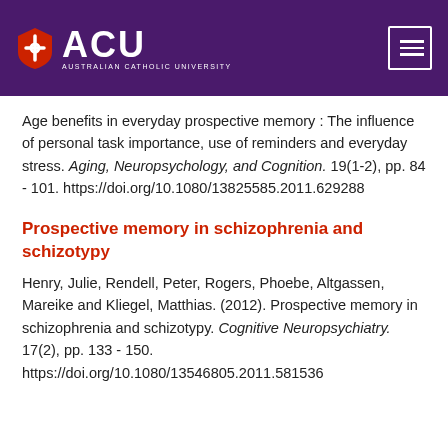ACU Australian Catholic University
Age benefits in everyday prospective memory : The influence of personal task importance, use of reminders and everyday stress. Aging, Neuropsychology, and Cognition. 19(1-2), pp. 84 - 101. https://doi.org/10.1080/13825585.2011.629288
Prospective memory in schizophrenia and schizotypy
Henry, Julie, Rendell, Peter, Rogers, Phoebe, Altgassen, Mareike and Kliegel, Matthias. (2012). Prospective memory in schizophrenia and schizotypy. Cognitive Neuropsychiatry. 17(2), pp. 133 - 150. https://doi.org/10.1080/13546805.2011.581536